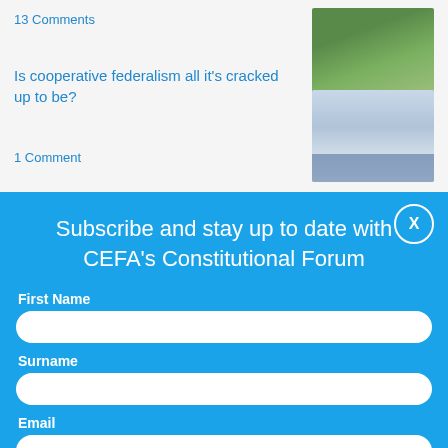13 Comments
Is cooperative federalism all it's cracked up to be?
1 Comment
[Figure (photo): Thumbnail image of outdoor scene with green foliage]
[Figure (photo): Thumbnail image of a conference or meeting room interior]
Subscribe and stay up to date with CEFA's Constitutional Forum
First Name
Surname
Email
Subscribe